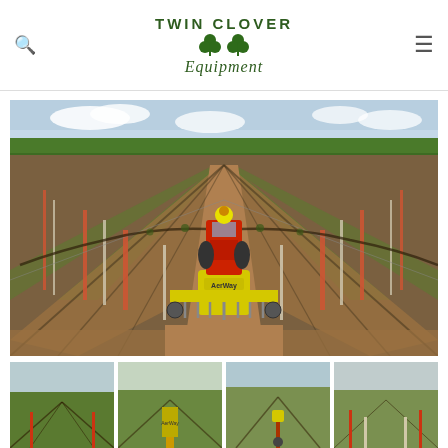[Figure (logo): Twin Clover Equipment logo with two green clover leaves and italic script text]
[Figure (photo): Aerial/ground-level view of a vineyard with rows of grapevines, a red tractor with yellow AerWay implement being driven down the center row by an operator wearing a hard hat. Sky visible at top, trees in background.]
[Figure (photo): Thumbnail 1: vineyard rows photo]
[Figure (photo): Thumbnail 2: vineyard/field photo]
[Figure (photo): Thumbnail 3: vineyard/field photo]
[Figure (photo): Thumbnail 4: vineyard/field photo]